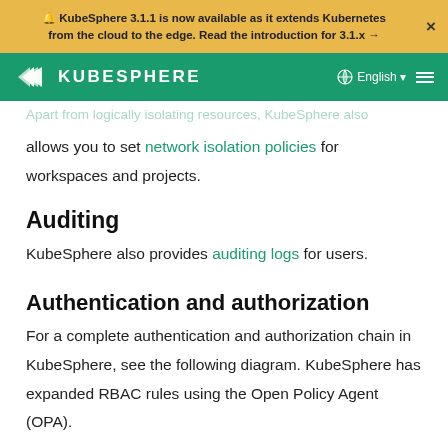🔔 KubeSphere 3.1.1 is now available as it extends Kubernetes from the cloud to the edge. Read the introduction for 3.1.x →
[Figure (logo): KubeSphere navigation bar with logo and English language selector]
Apart from logically isolating resources, KubeSphere also allows you to set network isolation policies for workspaces and projects.
Auditing
KubeSphere also provides auditing logs for users.
Authentication and authorization
For a complete authentication and authorization chain in KubeSphere, see the following diagram. KubeSphere has expanded RBAC rules using the Open Policy Agent (OPA).